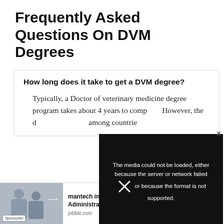Frequently Asked Questions On DVM Degrees
How long does it take to get a DVM degree?
Typically, a Doctor of veterinary medicine degree program takes about 4 years to complete. However, the duration can vary among countries…
[Figure (screenshot): Media error overlay showing: 'The media could not be loaded, either because the server or network failed or because the format is not supported.' with an X close button]
mantech international corporation Administrative. jobble.com